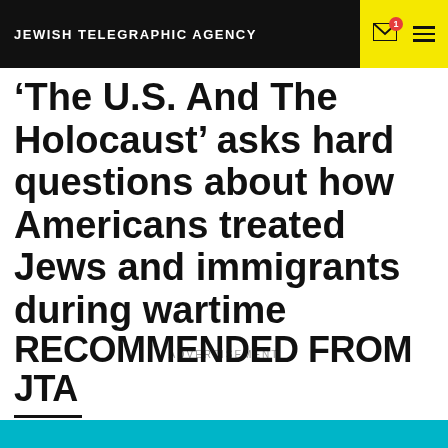JEWISH TELEGRAPHIC AGENCY
‘The U.S. And The Holocaust’ asks hard questions about how Americans treated Jews and immigrants during wartime
ADVERTISEMENT
RECOMMENDED FROM JTA